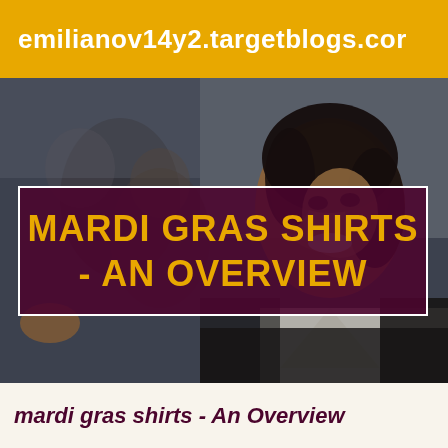emilianov14y2.targetblogs.cor
[Figure (photo): People in a classroom or seminar setting, a smiling Black woman in the foreground wearing a blazer, holding a pen, with others behind her writing]
MARDI GRAS SHIRTS - AN OVERVIEW
mardi gras shirts - An Overview